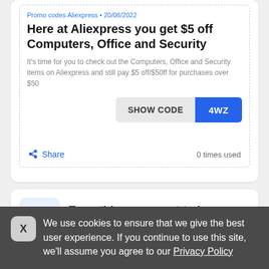Promo codes Aliexpress • 20/08/2022
Here at Aliexpress you get $5 off Computers, Office and Security
It's time for you to check out the Computers, Office and Security items on Aliexpress and still pay $5 off/$50ff for purchases over $50
SHOW CODE  4WZ
Share   0 times used
Everything you want to know about Walmart
We use cookies to ensure that we give the best user experience. If you continue to use this site, we'll assume you agree to our Privacy Policy